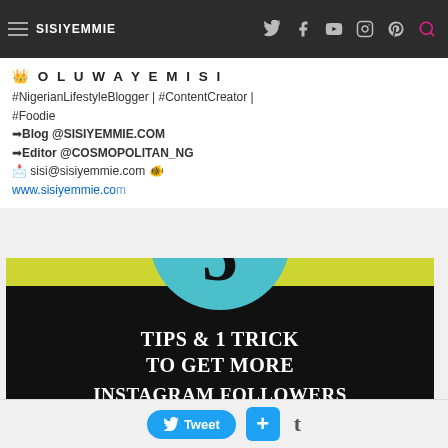SISIYEMMIE — navigation bar with social icons
👑 O L U W A Y E M I S I
#NigerianLifestyleBlogger | #ContentCreator | #Foodie
➡Blog @SISIYEMMIE.COM
➡Editor @COSMOPOLITAN_NG
📩 sisi@sisiyemmie.com 🐠
www.sisiyemmie.com
[Figure (infographic): Dark background infographic with yellow bar, teal circle showing number 5, white bold serif text reading '5 TIPS & 1 TRICK TO GET MORE INSTAGRAM FOLLOWERS']
Tweet | + | t (share buttons)